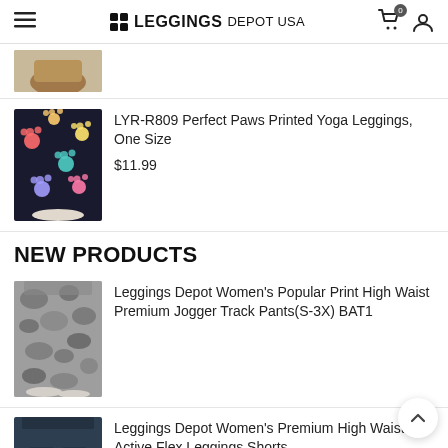LEGGINGS DEPOT USA
[Figure (photo): Partial view of colorful printed leggings on legs, cropped at top]
[Figure (photo): Colorful paw print yoga leggings on model]
LYR-R809 Perfect Paws Printed Yoga Leggings, One Size
$11.99
NEW PRODUCTS
[Figure (photo): Camouflage pattern high waist jogger track pants on model]
Leggings Depot Women's Popular Print High Waist Premium Jogger Track Pants(S-3X) BAT1
[Figure (photo): Navy high waisted active flex leggings shorts on model]
Leggings Depot Women's Premium High Waisted Active Flex Leggings Shorts